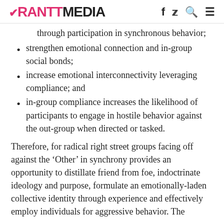RANTT MEDIA
through participation in synchronous behavior;
strengthen emotional connection and in-group social bonds;
increase emotional interconnectivity leveraging compliance; and
in-group compliance increases the likelihood of participants to engage in hostile behavior against the out-group when directed or tasked.
Therefore, for radical right street groups facing off against the ‘Other’ in synchrony provides an opportunity to distillate friend from foe, indoctrinate ideology and purpose, formulate an emotionally-laden collective identity through experience and effectively employ individuals for aggressive behavior. The